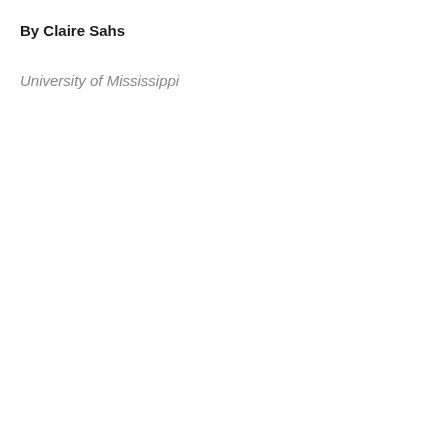By Claire Sahs
University of Mississippi